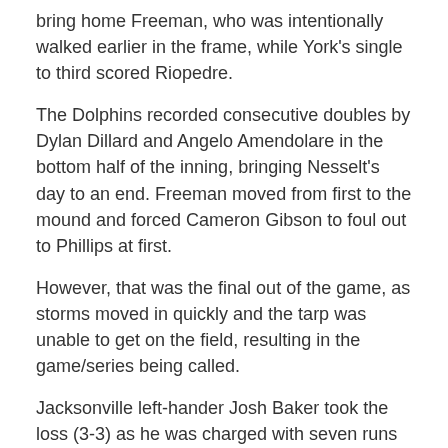bring home Freeman, who was intentionally walked earlier in the frame, while York's single to third scored Riopedre.
The Dolphins recorded consecutive doubles by Dylan Dillard and Angelo Amendolare in the bottom half of the inning, bringing Nesselt's day to an end. Freeman moved from first to the mound and forced Cameron Gibson to foul out to Phillips at first.
However, that was the final out of the game, as storms moved in quickly and the tarp was unable to get on the field, resulting in the game/series being called.
Jacksonville left-hander Josh Baker took the loss (3-3) as he was charged with seven runs (six earned) on eight hits in 6.1 innings of work.
Marabell and Amendolare combined for four of the Dolphins' eight hits in the losing effort as they both recorded two-hit games.
Following its game against Tennessee on Tuesday, the